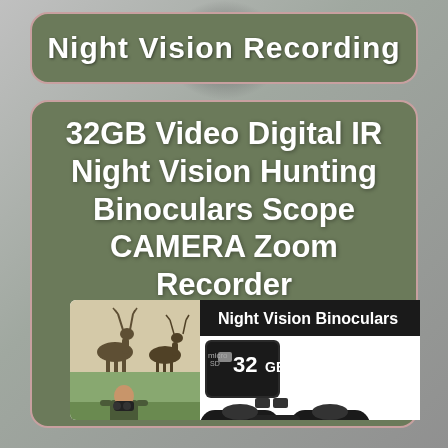Night Vision Recording
32GB Video Digital IR Night Vision Hunting Binoculars Scope CAMERA Zoom Recorder
[Figure (photo): Product photo of night vision binoculars with 32GB micro SD card, deer silhouette logo, man using binoculars, and 'Night Vision Binoculars' label]